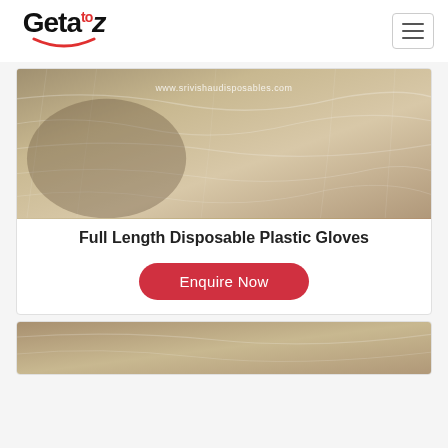Getaztoz navigation header with logo and hamburger menu
[Figure (photo): Photo of full length disposable plastic gloves, transparent/clear plastic, with watermark text www.srivishaudisposables.com]
Full Length Disposable Plastic Gloves
Enquire Now